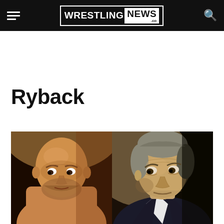WRESTLING NEWS .co
Ryback
[Figure (photo): Side-by-side photos of Ryback (bald, muscular wrestler, shirtless, looking to the side with intense expression) on the left and Vince McMahon (older man with grey hair in dark suit, looking with raised eyebrow) on the right.]